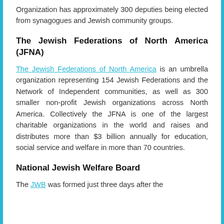Organization has approximately 300 deputies being elected from synagogues and Jewish community groups.
The Jewish Federations of North America (JFNA)
The Jewish Federations of North America is an umbrella organization representing 154 Jewish Federations and the Network of Independent communities, as well as 300 smaller non-profit Jewish organizations across North America. Collectively the JFNA is one of the largest charitable organizations in the world and raises and distributes more than $3 billion annually for education, social service and welfare in more than 70 countries.
National Jewish Welfare Board
The JWB was formed just three days after the